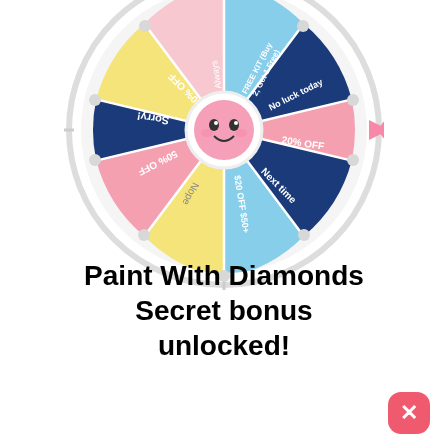[Figure (infographic): A colorful prize spinning wheel with a pink cartoon character in the center. Segments include: 30% OFF, Sorry!, 50% OFF, Nope, $20 OFF $50+, Next time, 20% OFF, No luck today, FREE KIT (Buy 2 Get 1 Free), and other segments in light blue, dark blue, pink, yellow colors. A pink arrow pointer is on the right side.]
Paint With Diamonds Secret bonus unlocked!